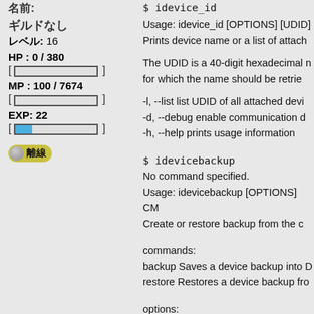名前:
ギルドなし
レベル: 16
HP : 0 / 380
[ (empty bar) ]
MP : 100 / 7674
[ (partial bar) ]
EXP: 22
[ (blue bar) ]
離線 (offline status)
$ idevice_id
Usage: idevice_id [OPTIONS] [UDID]
Prints device name or a list of attach
The UDID is a 40-digit hexadecimal n
for which the name should be retrie
-l, --list list UDID of all attached devi
-d, --debug enable communication d
-h, --help prints usage information
$ idevicebackup
No command specified.
Usage: idevicebackup [OPTIONS] CM
Create or restore backup from the c
commands:
backup Saves a device backup into D
restore Restores a device backup fro
options:
-d, --debug enable communication